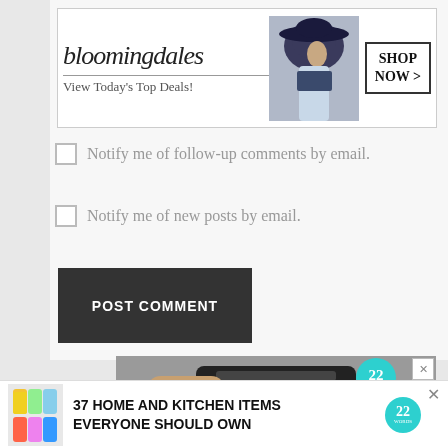[Figure (photo): Bloomingdale's banner ad: logo text, 'View Today's Top Deals!', woman in hat, SHOP NOW > button]
Notify me of follow-up comments by email.
Notify me of new posts by email.
POST COMMENT
[Figure (photo): 22 Words ad showing hands holding a kitchen gadget with a tomato, text '37 HOME AND KITCHEN ITEMS EVERYONE' with CLOSE button]
[Figure (photo): Bottom banner: '37 HOME AND KITCHEN ITEMS EVERYONE SHOULD OWN' with colorful bags image and 22 Words logo, X close button]